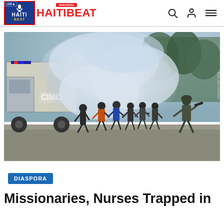HAITI BEAT - HAITIBEAT
[Figure (photo): CIMO police truck with tear gas smoke and people running during a protest or security operation in Haiti]
DIASPORA
Missionaries, Nurses Trapped in